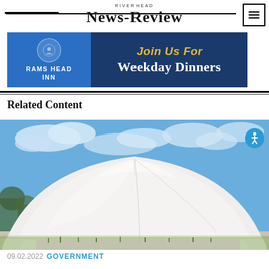RIVERHEAD NEWS-REVIEW
[Figure (photo): Advertisement banner for Rams Head Inn promoting Weekday Dinners, with blue background, inn logo on left, and text 'Join Us For Weekday Dinners' on right]
Related Content
[Figure (photo): Photograph of a large white inflatable dome structure against a blue sky with clouds, surrounded by green grass and pavement]
09.02.2022 GOVERNMENT